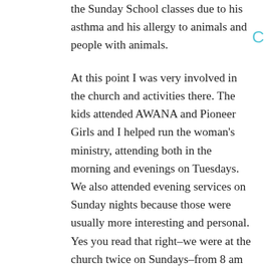the Sunday School classes due to his asthma and his allergy to animals and people with animals.
At this point I was very involved in the church and activities there. The kids attended AWANA and Pioneer Girls and I helped run the woman's ministry, attending both in the morning and evenings on Tuesdays. We also attended evening services on Sunday nights because those were usually more interesting and personal. Yes you read that right–we were at the church twice on Sundays–from 8 am to 12 then from 6 to 7, Monday nights from 6:15 to 8:15, Tuesdays from 9-2 (the homeschoolers had playgroup at the church after women's ministry) and from 7-9, Wednesdays from 6 till 8. Yup, I spent 16 hours a week at the church–which was a 20 minute drive away. So add in all the driving back and forth and getting kids in and out of the car–the institutional church was eating up about 19 hours of my week. And I knew plenty of people who spent more time there and was often made to feel guilty for not doing